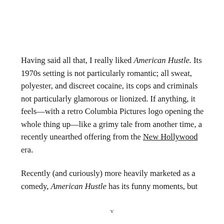Having said all that, I really liked American Hustle. Its 1970s setting is not particularly romantic; all sweat, polyester, and discreet cocaine, its cops and criminals not particularly glamorous or lionized. If anything, it feels—with a retro Columbia Pictures logo opening the whole thing up—like a grimy tale from another time, a recently unearthed offering from the New Hollywood era.
Recently (and curiously) more heavily marketed as a comedy, American Hustle has its funny moments, but
v